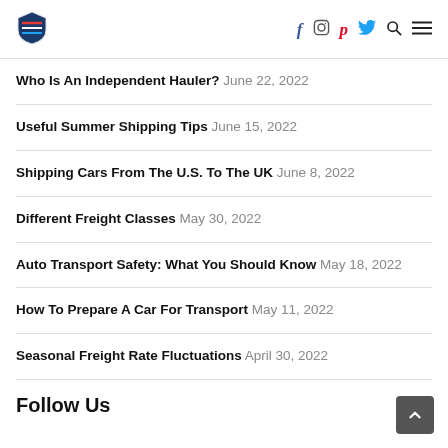Logo and navigation icons: Facebook, Instagram, Pinterest, Twitter, Search, Menu
Who Is An Independent Hauler? June 22, 2022
Useful Summer Shipping Tips June 15, 2022
Shipping Cars From The U.S. To The UK June 8, 2022
Different Freight Classes May 30, 2022
Auto Transport Safety: What You Should Know May 18, 2022
How To Prepare A Car For Transport May 11, 2022
Seasonal Freight Rate Fluctuations April 30, 2022
Follow Us